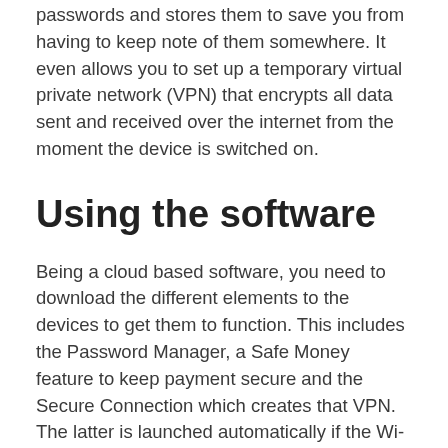passwords and stores them to save you from having to keep note of them somewhere. It even allows you to set up a temporary virtual private network (VPN) that encrypts all data sent and received over the internet from the moment the device is switched on.
Using the software
Being a cloud based software, you need to download the different elements to the devices to get them to function. This includes the Password Manager, a Safe Money feature to keep payment secure and the Secure Connection which creates that VPN. The latter is launched automatically if the Wi-Fi you are using isn't safe, making it a particularly useful feature when you away from home.
Once you have downloaded and set up the features, you can monitor everything from the MyKaspersky account. You can